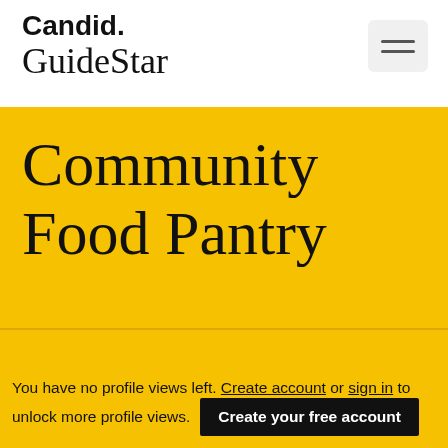Candid. GuideStar
Community Food Pantry
Fall River Mills, CA
You have no profile views left. Create account or sign in to unlock more profile views.
Create your free account